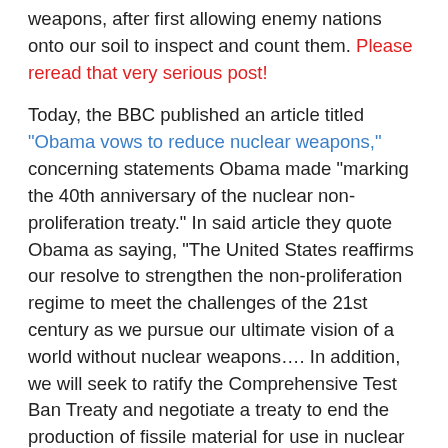weapons, after first allowing enemy nations onto our soil to inspect and count them. Please reread that very serious post!
Today, the BBC published an article titled "Obama vows to reduce nuclear weapons," concerning statements Obama made "marking the 40th anniversary of the nuclear non-proliferation treaty." In said article they quote Obama as saying, "The United States reaffirms our resolve to strengthen the non-proliferation regime to meet the challenges of the 21st century as we pursue our ultimate vision of a world without nuclear weapons…. In addition, we will seek to ratify the Comprehensive Test Ban Treaty and negotiate a treaty to end the production of fissile material for use in nuclear weapons…. Our forthcoming Nuclear Posture Review will move beyond outdated Cold War thinking and reduce the number and role of nuclear weapons in our national security strategy, even as we maintain a safe, secure and effective nuclear deterrent." The article ends with this paragraph: "Officials have said that thousands of nuclear weapons could be cut, in many cases by retiring weapons that are now kept in storage."
If these are not treasonous intentions then what would be? In spite of Obama's assurance that his administration will "maintain a safe, secure and effective nuclear deterrent," a person would have to be a fool indeed to believe that destroying thousands of our very expensive